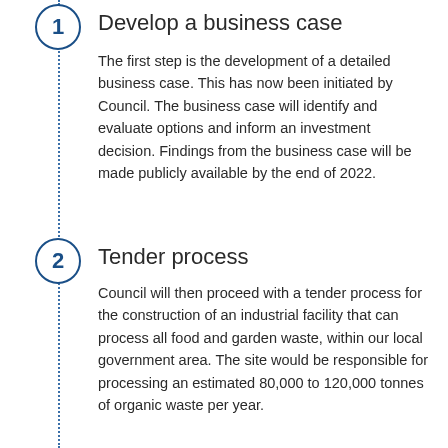Develop a business case
The first step is the development of a detailed business case. This has now been initiated by Council. The business case will identify and evaluate options and inform an investment decision. Findings from the business case will be made publicly available by the end of 2022.
Tender process
Council will then proceed with a tender process for the construction of an industrial facility that can process all food and garden waste, within our local government area. The site would be responsible for processing an estimated 80,000 to 120,000 tonnes of organic waste per year.